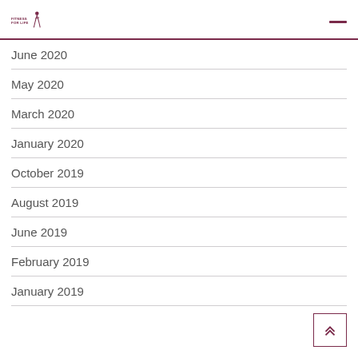FITNESS FOR LIFE
June 2020
May 2020
March 2020
January 2020
October 2019
August 2019
June 2019
February 2019
January 2019